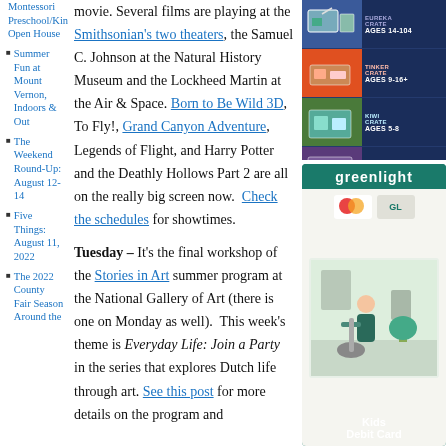Montessori Preschool/Kin Open House
Summer Fun at Mount Vernon, Indoors & Out
The Weekend Round-Up: August 12-14
Five Things: August 11, 2022
The 2022 County Fair Season Around the
movie. Several films are playing at the Smithsonian's two theaters, the Samuel C. Johnson at the Natural History Museum and the Lockheed Martin at the Air & Space. Born to Be Wild 3D, To Fly!, Grand Canyon Adventure, Legends of Flight, and Harry Potter and the Deathly Hollows Part 2 are all on the really big screen now. Check the schedules for showtimes.
Tuesday – It's the final workshop of the Stories in Art summer program at the National Gallery of Art (there is one on Monday as well). This week's theme is Everyday Life: Join a Party in the series that explores Dutch life through art. See this post for more details on the program and
[Figure (advertisement): Crate subscription box advertisement showing four age-tiered product rows: Eureka Crate ages 14-104, Tinker Crate ages 9-16+, Kiwi Crate ages 5-8, and 0-36 months, on dark blue background]
[Figure (advertisement): Greenlight Kids Debit Card advertisement with teal/green background, showing Mastercard and GL card visuals, illustration of child with vacuum cleaner, and Kids Debit Card text]